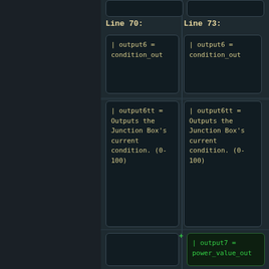Line 70:
Line 73:
[Figure (screenshot): Code diff view showing two columns (Line 70 and Line 73). Each column contains code boxes with monospace text. Line 70 column: box1 shows '| output6 = condition_out', box2 shows '| output6tt = Outputs the Junction Box's current condition. (0-100)', box3 is empty. Line 73 column: box1 shows '| output6 = condition_out', box2 shows '| output6tt = Outputs the Junction Box's current condition. (0-100)', box3 (green, addition) shows '+ | output7 = power_value_out', box4 (green, addition, partial) shows '+ | output7tt = Outputs the Nuclear Reactor's']